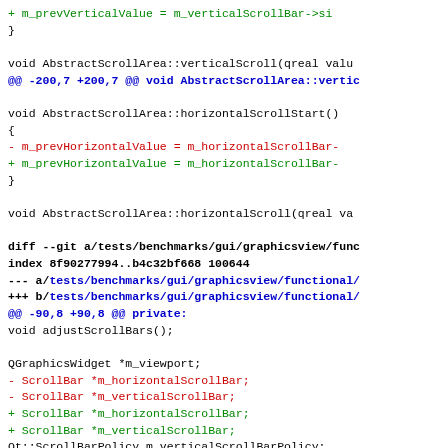Code diff showing changes to AbstractScrollArea and graphicsview functional test files